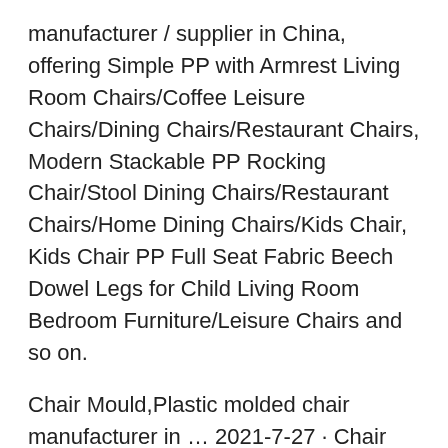manufacturer / supplier in China, offering Simple PP with Armrest Living Room Chairs/Coffee Leisure Chairs/Dining Chairs/Restaurant Chairs, Modern Stackable PP Rocking Chair/Stool Dining Chairs/Restaurant Chairs/Home Dining Chairs/Kids Chair, Kids Chair PP Full Seat Fabric Beech Dowel Legs for Child Living Room Bedroom Furniture/Leisure Chairs and so on.
Chair Mould,Plastic molded chair manufacturer in … 2021-7-27 · Chair Mould,Plastic molded chair. A China Plastic Chair Mould and injection molded chair manufacturer and supplier,the back insert could be changed,steel:P20,718 with good price and quality…. For more than ten years, we have been providing custom molds for plastic chair to customers around the globe, and have provided